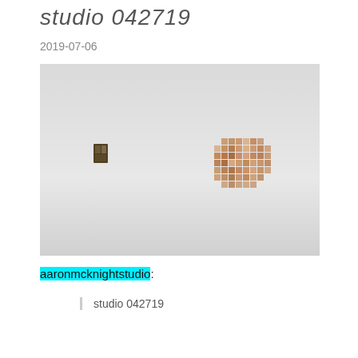studio 042719
2019-07-06
[Figure (photo): Gallery wall photo showing two artworks mounted on a large white wall. On the left is a small dark rectangular piece. On the right is a larger grid-like arrangement of small square tiles in warm brown and tan tones.]
aaronmcknightstudio:
studio 042719